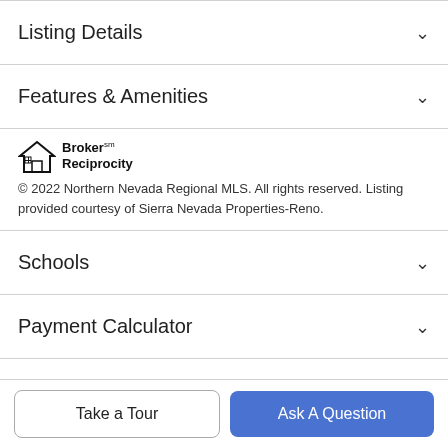Listing Details
Features & Amenities
[Figure (logo): Broker Reciprocity logo with house icon]
© 2022 Northern Nevada Regional MLS. All rights reserved. Listing provided courtesy of Sierra Nevada Properties-Reno.
Schools
Payment Calculator
Contact Agent
Take a Tour
Ask A Question